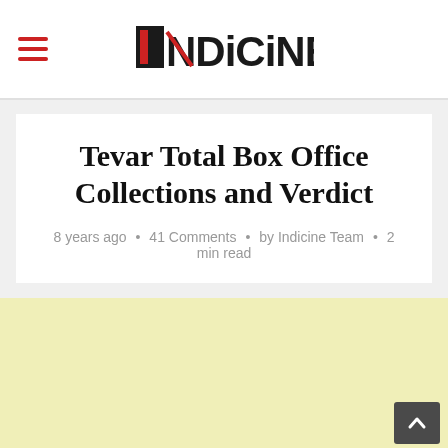INDICINE
Tevar Total Box Office Collections and Verdict
8 years ago • 41 Comments • by Indicine Team • 2 min read
[Figure (other): Light yellow advertisement placeholder area]